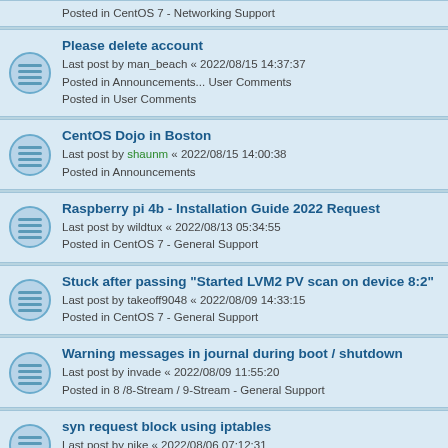Posted in CentOS 7 - Networking Support
Please delete account
Last post by man_beach « 2022/08/15 14:37:37
Posted in User Comments
CentOS Dojo in Boston
Last post by shaunm « 2022/08/15 14:00:38
Posted in Announcements
Raspberry pi 4b - Installation Guide 2022 Request
Last post by wildtux « 2022/08/13 05:34:55
Posted in CentOS 7 - General Support
Stuck after passing "Started LVM2 PV scan on device 8:2"
Last post by takeoff9048 « 2022/08/09 14:33:15
Posted in CentOS 7 - General Support
Warning messages in journal during boot / shutdown
Last post by invade « 2022/08/09 11:55:20
Posted in 8 /8-Stream / 9-Stream - General Support
syn request block using iptables
Last post by nike « 2022/08/06 07:12:31
Posted in CentOS 7 - Security Support
Upgrading a fresh installation --> not booting
Last post by jtajtajta « 2022/08/04 22:41:43
Posted in 8 /8-Stream / 9-Stream - General Support
ipa server and client ssh not reponding
Last post by rolandderuel « 2022/08/03 15:36:44
Posted in 8 /8-Stream / 9-Stream - General Support